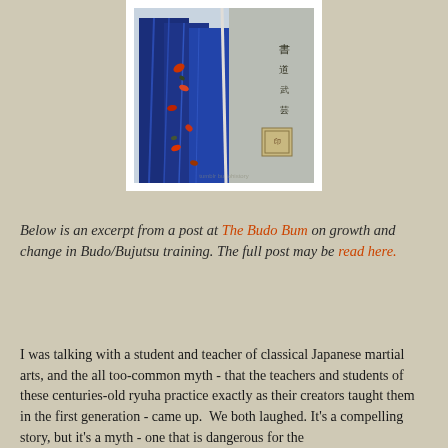[Figure (illustration): A Japanese woodblock print showing figures in blue robes with red maple leaves and Japanese calligraphy text on the right side]
Below is an excerpt from a post at The Budo Bum on growth and change in Budo/Bujutsu training. The full post may be read here.
I was talking with a student and teacher of classical Japanese martial arts, and the all too-common myth - that the teachers and students of these centuries-old ryuha practice exactly as their creators taught them in the first generation - came up.  We both laughed. It's a compelling story, but it's a myth - one that is dangerous for the